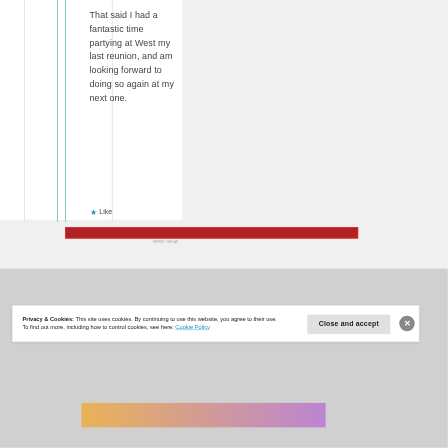That said I had a fantastic time partying at West my last reunion, and am looking forward to doing so again at my next one.
★ Like
[Figure (other): Red advertisement banner with 'REPORT THIS AD' label]
Privacy & Cookies: This site uses cookies. By continuing to use this website, you agree to their use. To find out more, including how to control cookies, see here: Cookie Policy
Close and accept